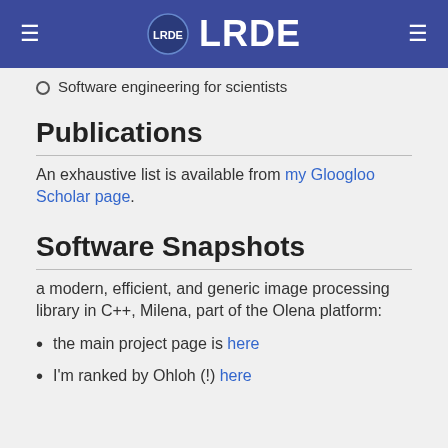LRDE
Software engineering for scientists
Publications
An exhaustive list is available from my Gloogloo Scholar page.
Software Snapshots
a modern, efficient, and generic image processing library in C++, Milena, part of the Olena platform:
the main project page is here
I'm ranked by Ohloh (!) here